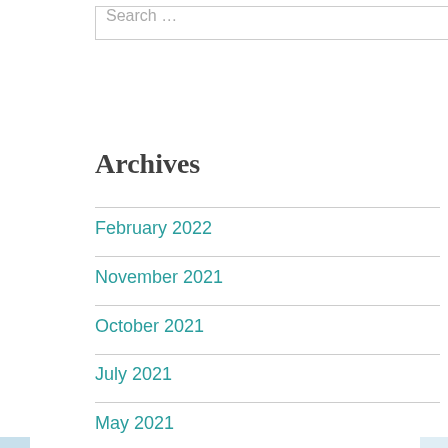Search …
Archives
February 2022
November 2021
October 2021
July 2021
May 2021
April 2021
March 2021
February 2021